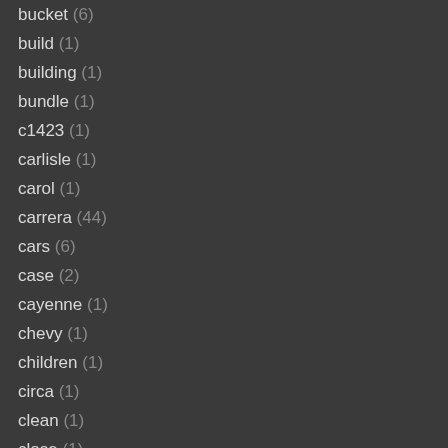bucket (6)
build (1)
building (1)
bundle (1)
c1423 (1)
carlisle (1)
carol (1)
carrera (44)
cars (6)
case (2)
cayenne (1)
chevy (1)
children (1)
circa (1)
clean (1)
close (1)
colour (1)
complete (3)